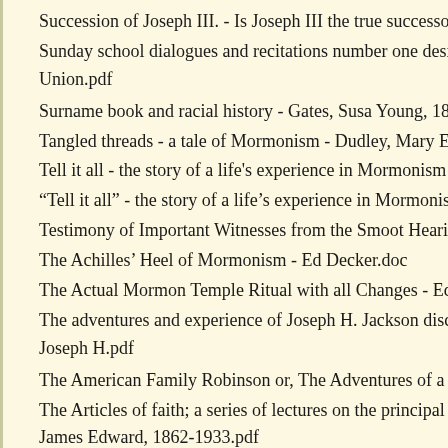Succession of Joseph III. - Is Joseph III the true successor of
Sunday school dialogues and recitations number one designed by Union.pdf
Surname book and racial history - Gates, Susa Young, 1856-
Tangled threads - a tale of Mormonism - Dudley, Mary Eliza
Tell it all - the story of a life's experience in Mormonism - Ste
"Tell it all" - the story of a life's experience in Mormonism. A
Testimony of Important Witnesses from the Smoot Hearing
The Achilles' Heel of Mormonism - Ed Decker.doc
The Actual Mormon Temple Ritual with all Changes - Ed De
The adventures and experience of Joseph H. Jackson disclo
Joseph H.pdf
The American Family Robinson or, The Adventures of a Fam
The Articles of faith; a series of lectures on the principal doc
James Edward, 1862-1933.pdf
The Birth of Mormonism in Pictures - Ed Decker.doc